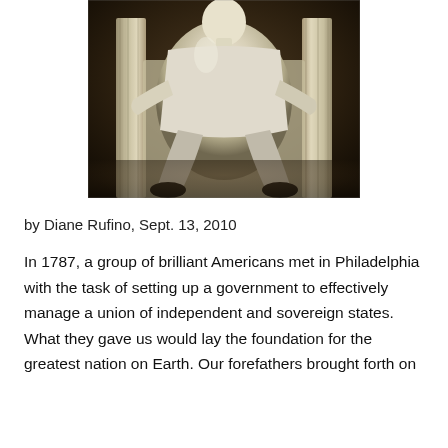[Figure (photo): Photograph of the Lincoln Memorial statue — Abraham Lincoln seated on a throne-like chair, white marble figure, dramatically lit from above against a dark background.]
by Diane Rufino, Sept. 13, 2010
In 1787, a group of brilliant Americans met in Philadelphia with the task of setting up a government to effectively manage a union of independent and sovereign states. What they gave us would lay the foundation for the greatest nation on Earth. Our forefathers brought forth on